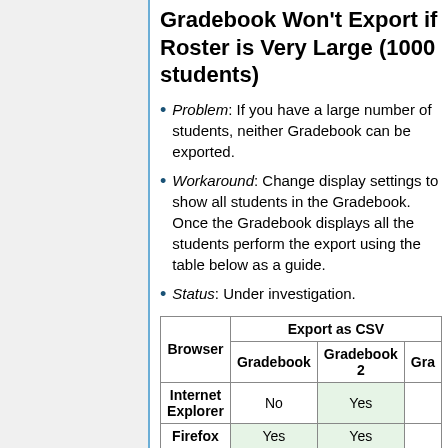Gradebook Won't Export if Roster is Very Large (1000 students)
Problem: If you have a large number of students, neither Gradebook can be exported.
Workaround: Change display settings to show all students in the Gradebook. Once the Gradebook displays all the students perform the export using the table below as a guide.
Status: Under investigation.
| Browser | Export as CSV / Gradebook | Export as CSV / Gradebook 2 | Export as CSV / Gra... |
| --- | --- | --- | --- |
| Internet Explorer | No | Yes |  |
| Firefox | Yes | Yes |  |
| Chrome | Yes | Yes |  |